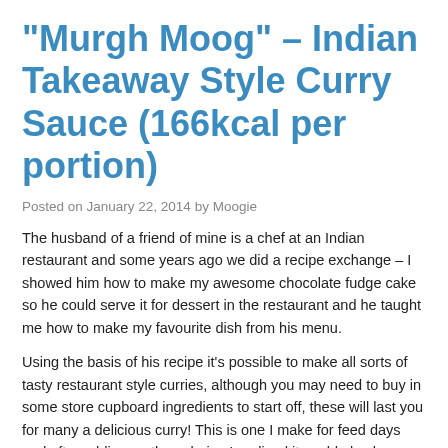"Murgh Moog" – Indian Takeaway Style Curry Sauce (166kcal per portion)
Posted on January 22, 2014 by Moogie
The husband of a friend of mine is a chef at an Indian restaurant and some years ago we did a recipe exchange – I showed him how to make my awesome chocolate fudge cake so he could serve it for dessert in the restaurant and he taught me how to make my favourite dish from his menu.
Using the basis of his recipe it's possible to make all sorts of tasty restaurant style curries, although you may need to buy in some store cupboard ingredients to start off, these will last you for many a delicious curry! This is one I make for feed days and after adding up the calories I realised it could also be a Fast Day dinner! The whole family will love this one and the recipe serves 4 people. The below mild to medium